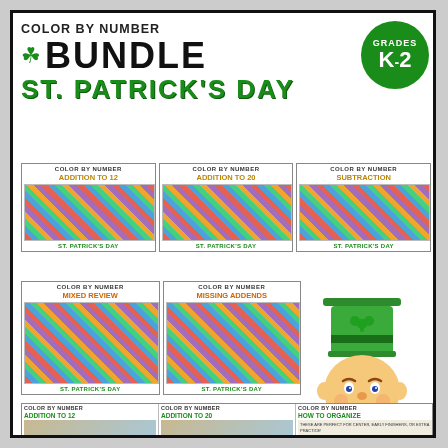COLOR BY NUMBER BUNDLE ST. PATRICK'S DAY GRADES K-2
[Figure (illustration): Educational product cover showing Color by Number Bundle for St. Patrick's Day, Grades K-2, with five product sub-covers: Addition to 12, Addition to 20, Subtraction, Mixed Review, Missing Addends. Each sub-cover shows colorful mosaic worksheets. A cartoon leprechaun is shown in the bottom right.]
COLOR BY NUMBER ADDITION TO 12
COLOR BY NUMBER ADDITION TO 20
COLOR BY NUMBER SUBTRACTION
ST. PATRICK'S DAY
COLOR BY NUMBER MIXED REVIEW
COLOR BY NUMBER MISSING ADDENDS
COLOR BY NUMBER ADDITION TO 12
COLOR BY NUMBER ADDITION TO 20
COLOR BY NUMBER HOW TO ORGANIZE